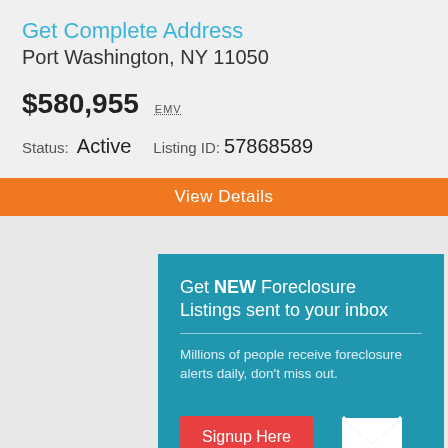Get Complete Address
Port Washington, NY 11050
$580,955 EMV
Status: Active   Listing ID: 57868589
View Details
[Figure (infographic): Teal popup card with text 'Get NEW Foreclosure Listings sent to your inbox', a horizontal divider, body text 'Millions of people receive foreclosure alerts daily, don’t miss out.', a red Signup Here button, envelope icon, and text 'No Thanks | Remind Me Later']